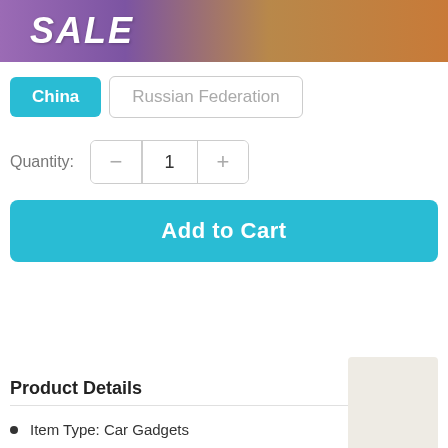[Figure (photo): E-commerce banner with SALE text on a purple/warm gradient background with gift/holiday imagery]
China | Russian Federation
Quantity: 1
Add to Cart
Product Details
Item Type: Car Gadgets